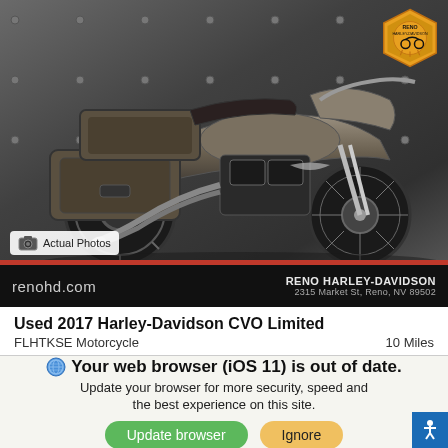[Figure (photo): A used 2017 Harley-Davidson CVO Limited motorcycle photographed in a dark studio setting against a grey metallic riveted wall background. The motorcycle is silver/grey and chrome with large touring saddlebags, shown from the left side at a slight angle. A Reno Harley-Davidson logo badge appears in the top right corner.]
Actual Photos
renohd.com
RENO HARLEY-DAVIDSON
2315 Market St, Reno, NV 89502
Used 2017 Harley-Davidson CVO Limited
FLHTKSE Motorcycle	10 Miles
Your web browser (iOS 11) is out of date.
Update your browser for more security, speed and the best experience on this site.
Update browser
Ignore